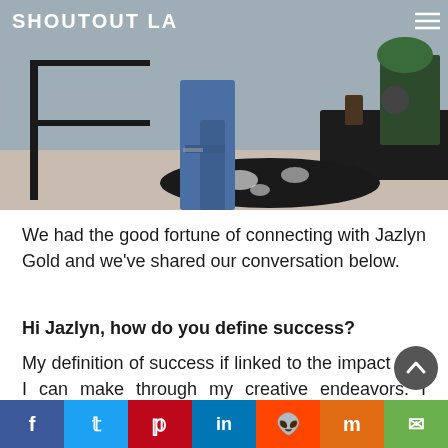[Figure (photo): Top portion of a photo showing a person in blue jeans standing in a modern room with dark furniture, a cowhide rug, and plants. The ShoutoutLA logo appears in the top left.]
We had the good fortune of connecting with Jazlyn Gold and we've shared our conversation below.
Hi Jazlyn, how do you define success?
My definition of success if linked to the impact that I can make through my creative endeavors. I measure my success through my customer feedback and moments where fans have relayed to me how my music has helped them. My most successful shows have been instances when i
f  t  p  in  reddit  m  email